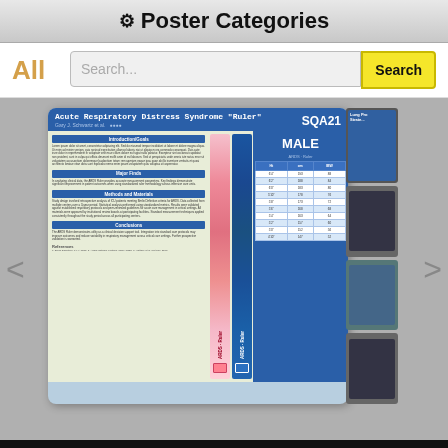⚙ Poster Categories
All
Search...
Search
[Figure (screenshot): Screenshot of a medical conference poster titled 'Acute Respiratory Distress Syndrome Ruler' labeled SQA21, showing text columns, pink and blue ruler strips, and a MALE ARDS Ruler table. Adjacent thumbnails of other posters are partially visible.]
P010
011